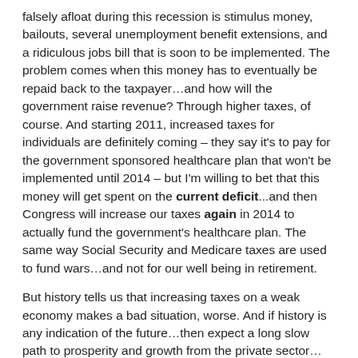falsely afloat during this recession is stimulus money, bailouts, several unemployment benefit extensions, and a ridiculous jobs bill that is soon to be implemented. The problem comes when this money has to eventually be repaid back to the taxpayer…and how will the government raise revenue? Through higher taxes, of course. And starting 2011, increased taxes for individuals are definitely coming – they say it's to pay for the government sponsored healthcare plan that won't be implemented until 2014 – but I'm willing to bet that this money will get spent on the current deficit...and then Congress will increase our taxes again in 2014 to actually fund the government's healthcare plan. The same way Social Security and Medicare taxes are used to fund wars…and not for our well being in retirement.
But history tells us that increasing taxes on a weak economy makes a bad situation, worse. And if history is any indication of the future…then expect a long slow path to prosperity and growth from the private sector…hopefully….depending on if the government doesn't do any more harm than good by creating another jobs bill.